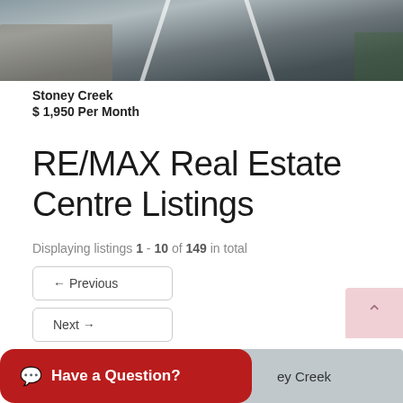[Figure (photo): Road/street photo viewed from top, showing asphalt road with white lane markings, partial view of rocky wall on left side and grass on right]
Stoney Creek
$ 1,950 Per Month
RE/MAX Real Estate Centre Listings
Displaying listings 1 - 10 of 149 in total
← Previous
Next →
Have a Question?
ey Creek